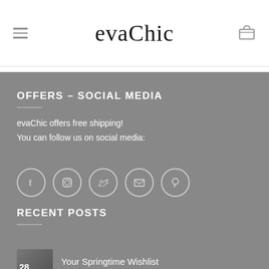evaChic
OFFERS – SOCIAL MEDIA
evaChic offers free shipping!
You can follow us on social media:
[Figure (other): Social media icons: Facebook, Instagram, Twitter, Email, Pinterest — circular outline style]
RECENT POSTS
Your Springtime Wishlist